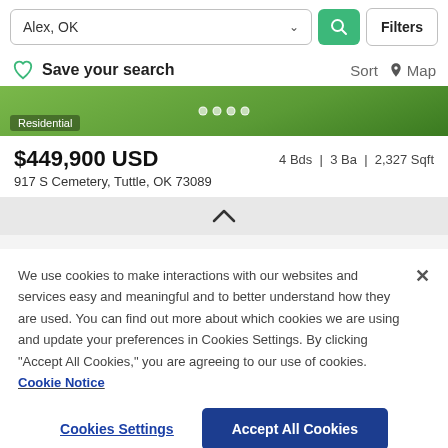Alex, OK
Filters
Save your search
Sort  Map
[Figure (photo): Residential property listing with green grass background and dot indicators]
$449,900 USD   4 Bds | 3 Ba | 2,327 Sqft
917 S Cemetery, Tuttle, OK 73089
We use cookies to make interactions with our websites and services easy and meaningful and to better understand how they are used. You can find out more about which cookies we are using and update your preferences in Cookies Settings. By clicking "Accept All Cookies," you are agreeing to our use of cookies.  Cookie Notice
Cookies Settings
Accept All Cookies